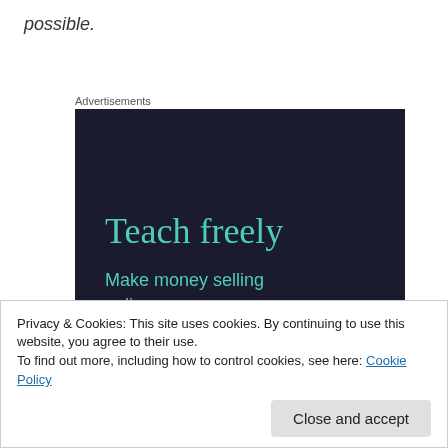possible.
Advertisements
[Figure (screenshot): Dark-background advertisement with teal text reading 'Teach freely' and 'Make money selling online courses.']
Privacy & Cookies: This site uses cookies. By continuing to use this website, you agree to their use.
To find out more, including how to control cookies, see here: Cookie Policy